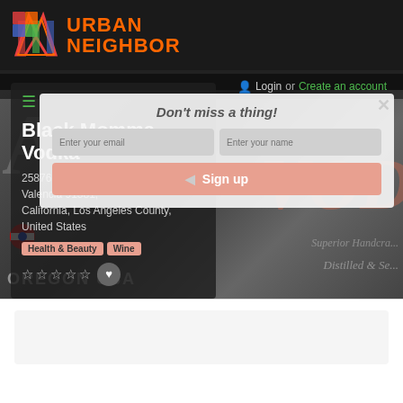URBAN NEIGHBOR
Login or Create an account
Black Momma Vodka
25876 The Old Road, Suite 250, Valencia 91381, California, Los Angeles County, United States
Health & Beauty  Wine
Don't miss a thing!
Enter your email
Enter your name
Sign up